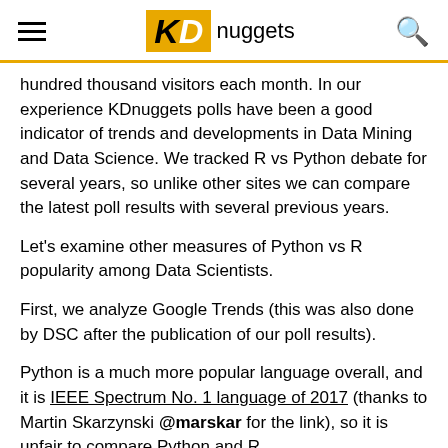KDnuggets
hundred thousand visitors each month. In our experience KDnuggets polls have been a good indicator of trends and developments in Data Mining and Data Science. We tracked R vs Python debate for several years, so unlike other sites we can compare the latest poll results with several previous years.
Let's examine other measures of Python vs R popularity among Data Scientists.
First, we analyze Google Trends (this was also done by DSC after the publication of our poll results).
Python is a much more popular language overall, and it is IEEE Spectrum No. 1 language of 2017 (thanks to Martin Skarzynski @marskar for the link), so it is unfair to compare Python and R